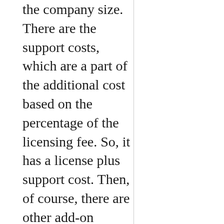the company size. There are the support costs, which are a part of the additional cost based on the percentage of the licensing fee. So, it has a license plus support cost. Then, of course, there are other add-on options that we can purchase and procure whenever we want to based on certain negotiated arrangements."